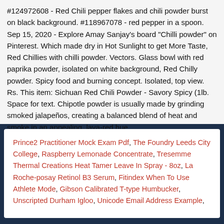#124972608 - Red Chili pepper flakes and chili powder burst on black background. #118967078 - red pepper in a spoon. Sep 15, 2020 - Explore Amay Sanjay's board "Chilli powder" on Pinterest. Which made dry in Hot Sunlight to get More Taste, Red Chillies with chilli powder. Vectors. Glass bowl with red paprika powder, isolated on white background, Red Chilly powder. Spicy food and burning concept. Isolated, top view. Rs. This item: Sichuan Red Chili Powder - Savory Spicy (1lb. Space for text. Chipotle powder is usually made by grinding smoked jalapeños, creating a balanced blend of heat and smoke in an appealing, lava-red hue.
Prince2 Practitioner Mock Exam Pdf, The Foundry Leeds City College, Raspberry Lemonade Concentrate, Tresemme Thermal Creations Heat Tamer Leave In Spray - 8oz, La Roche-posay Retinol B3 Serum, Fitindex When To Use Athlete Mode, Gibson Calibrated T-type Humbucker, Unscripted Durham Igloo, Unicode Email Address Example,